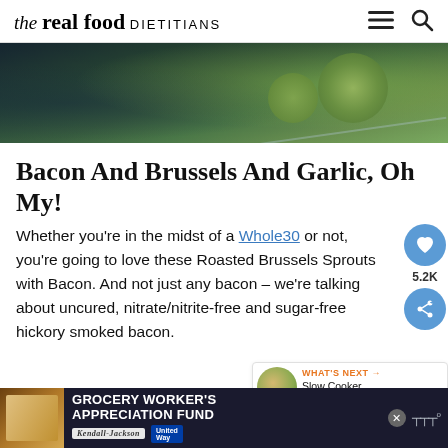the real food DIETITIANS
[Figure (photo): Close-up photo of Brussels sprouts and food on a dark background]
Bacon And Brussels And Garlic, Oh My!
Whether you're in the midst of a Whole30 or not, you're going to love these Roasted Brussels Sprouts with Bacon. And not just any bacon – we're talking about uncured, nitrate/nitrite-free and sugar-free hickory smoked bacon.
with all it's fatty bits that make everything all sm...
[Figure (screenshot): WHAT'S NEXT widget showing Slow Cooker White Chick...]
[Figure (screenshot): Advertisement banner: GROCERY WORKER'S APPRECIATION FUND with Kendall-Jackson and United Way logos]